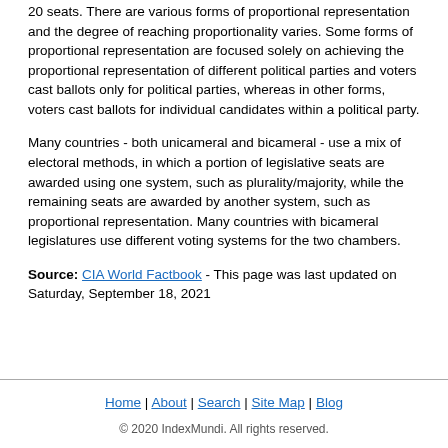20 seats. There are various forms of proportional representation and the degree of reaching proportionality varies. Some forms of proportional representation are focused solely on achieving the proportional representation of different political parties and voters cast ballots only for political parties, whereas in other forms, voters cast ballots for individual candidates within a political party.
Many countries - both unicameral and bicameral - use a mix of electoral methods, in which a portion of legislative seats are awarded using one system, such as plurality/majority, while the remaining seats are awarded by another system, such as proportional representation. Many countries with bicameral legislatures use different voting systems for the two chambers.
Source: CIA World Factbook - This page was last updated on Saturday, September 18, 2021
Home | About | Search | Site Map | Blog
© 2020 IndexMundi. All rights reserved.